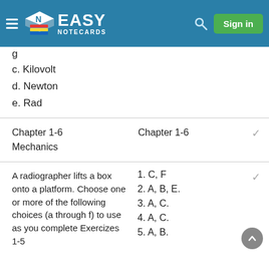Easy Notecards — Sign in
c. Kilovolt
d. Newton
e. Rad
Chapter 1-6   Mechanics | Chapter 1-6
A radiographer lifts a box onto a platform. Choose one or more of the following choices (a through f) to use as you complete Exercizes 1-5
1. C, F
2. A, B, E.
3. A, C.
4. A, C.
5. A, B.